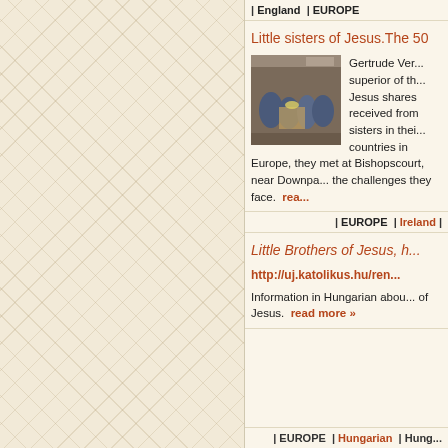| England | EUROPE
Little sisters of Jesus.The 50
Gertrude Ver... superior of th... Jesus shares received from sisters in their countries in Europe, they met at Bishopscourt, near Downpa... the challenges they face. read more »
| EUROPE | Ireland |
Little Brothers of Jesus, h...
http://uj.katolikus.hu/ren...
Information in Hungarian abou... of Jesus. read more »
| EUROPE | Hungarian | Hung...